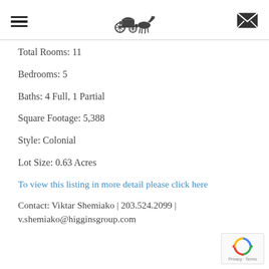[navigation header with logo]
Total Rooms: 11
Bedrooms: 5
Baths: 4 Full, 1 Partial
Square Footage: 5,388
Style: Colonial
Lot Size: 0.63 Acres
To view this listing in more detail please click here
Contact: Viktar Shemiako | 203.524.2099 | v.shemiako@higginsgroup.com